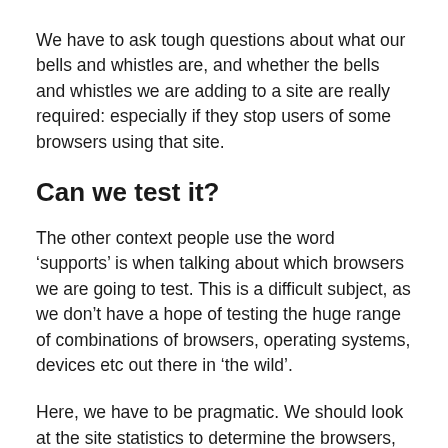We have to ask tough questions about what our bells and whistles are, and whether the bells and whistles we are adding to a site are really required: especially if they stop users of some browsers using that site.
Can we test it?
The other context people use the word ‘supports’ is when talking about which browsers we are going to test. This is a difficult subject, as we don’t have a hope of testing the huge range of combinations of browsers, operating systems, devices etc out there in ‘the wild’.
Here, we have to be pragmatic. We should look at the site statistics to determine the browsers, operating systems, and devices people are using. But we should bear in mind that if a particular browser or device doesn’t seem to be used much, it might be due to parts of the site not working